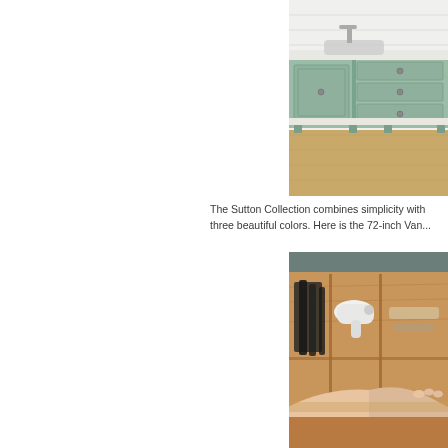[Figure (photo): A mint/sage green bathroom vanity with multiple drawers and cabinet doors, silver hardware, marble countertop, on light wood flooring against white shiplap wall.]
The Sutton Collection combines simplicity with three beautiful colors. Here is the 72-inch Van...
[Figure (photo): Close-up of an open wooden drawer insert organizer containing makeup brushes, a white hair dryer, and other bathroom accessories. A person's hand is reaching into the drawer.]